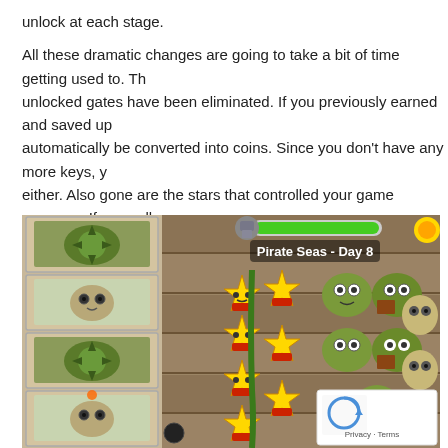unlock at each stage.
All these dramatic changes are going to take a bit of time getting used to. Th unlocked gates have been eliminated. If you previously earned and saved up automatically be converted into coins. Since you don't have any more keys, y either. Also gone are the stars that controlled your game progress. If you coll previously you will get new costumes instead of them.
[Figure (screenshot): Screenshot of Plants vs Zombies 2 game showing 'Pirate Seas - Day 8' level. Left side shows plant selection cards with various plants. Main game area shows a pirate-themed wooden plank board with star-shaped plants wearing red bandanas and zombie enemies. A health bar is visible at the top center. A reCAPTCHA widget with 'Privacy - Terms' text appears in the bottom right corner.]